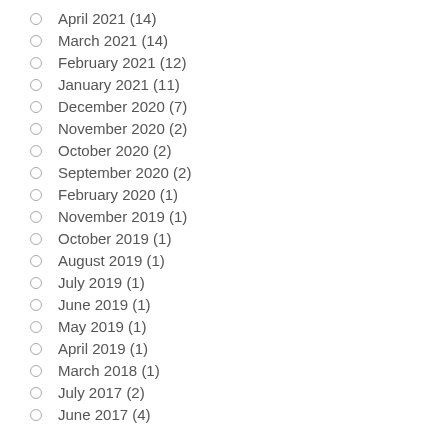April 2021 (14)
March 2021 (14)
February 2021 (12)
January 2021 (11)
December 2020 (7)
November 2020 (2)
October 2020 (2)
September 2020 (2)
February 2020 (1)
November 2019 (1)
October 2019 (1)
August 2019 (1)
July 2019 (1)
June 2019 (1)
May 2019 (1)
April 2019 (1)
March 2018 (1)
July 2017 (2)
June 2017 (4)